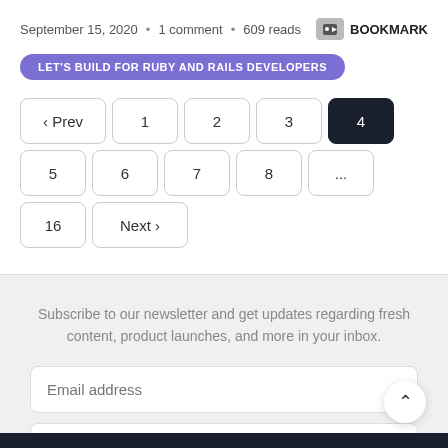September 15, 2020 • 1 comment • 609 reads
BOOKMARK
LET'S BUILD FOR RUBY AND RAILS DEVELOPERS
‹ Prev  1  2  3  4  5  6  7  8  ...  16  Next ›
Subscribe to our newsletter and get updates regarding fresh content, product launches, and more in your inbox.
Email address
First name... (Optional)
Subscribe